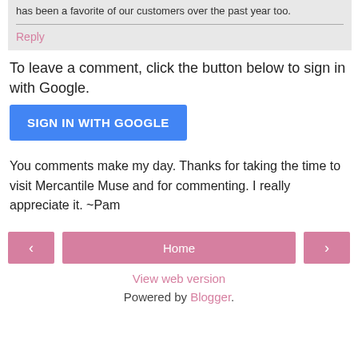has been a favorite of our customers over the past year too.
Reply
To leave a comment, click the button below to sign in with Google.
SIGN IN WITH GOOGLE
You comments make my day. Thanks for taking the time to visit Mercantile Muse and for commenting. I really appreciate it. ~Pam
< Home > View web version Powered by Blogger.